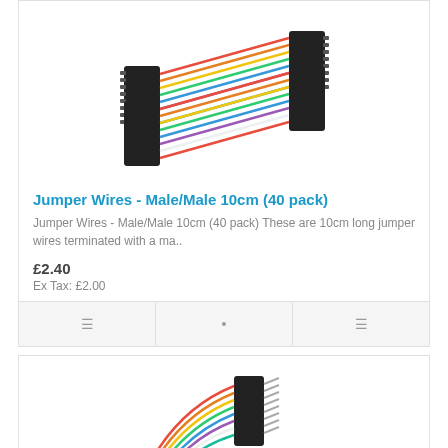[Figure (photo): Jumper wires Male/Male 10cm 40 pack product image showing colorful ribbon cables with black connectors on both ends]
Jumper Wires - Male/Male 10cm (40 pack)
Jumper Wires - Male/Male 10cm (40 pack) These are 10cm long jumper wires terminated with a ma..
£2.40
Ex Tax: £2.00
[Figure (photo): Second product image showing jumper wires with male pin connectors, colorful ribbon cables fanning out]